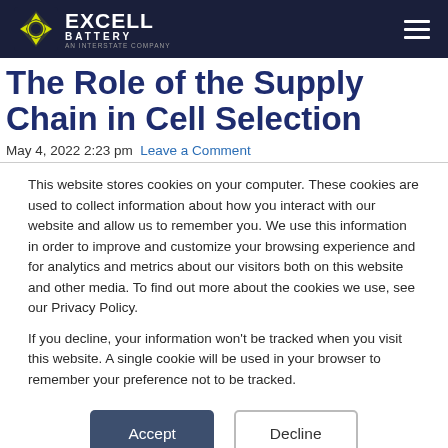Excell Battery — navigation header with logo and hamburger menu
The Role of the Supply Chain in Cell Selection
May 4, 2022 2:23 pm  Leave a Comment
This website stores cookies on your computer. These cookies are used to collect information about how you interact with our website and allow us to remember you. We use this information in order to improve and customize your browsing experience and for analytics and metrics about our visitors both on this website and other media. To find out more about the cookies we use, see our Privacy Policy.

If you decline, your information won't be tracked when you visit this website. A single cookie will be used in your browser to remember your preference not to be tracked.
Accept | Decline